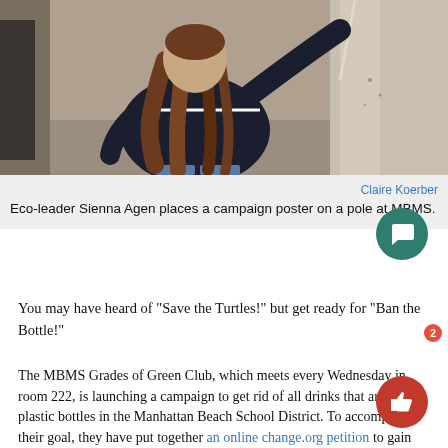[Figure (photo): A person with long brown hair wearing a dark jacket, photographed from behind, placing something on a pole or wall. Background appears to be a school building exterior.]
Claire Koerber
Eco-leader Sienna Agen places a campaign poster on a pole at MBMS.
You may have heard of “Save the Turtles!” but get ready for “Ban the Bottle!”
The MBMS Grades of Green Club, which meets every Wednesday in room 222, is launching a campaign to get rid of all drinks that are in plastic bottles in the Manhattan Beach School District. To accomplish their goal, they have put together an online change.org petition to gain support for this issue and are asking MBMS students to sign the petition and spread the word to others.